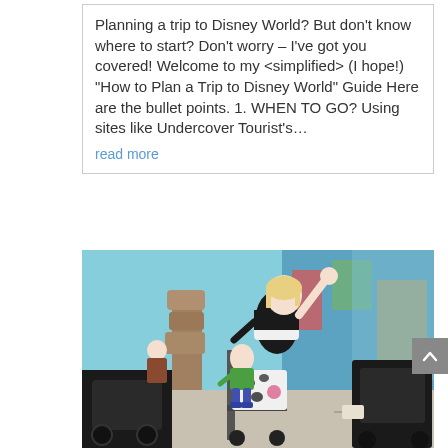Planning a trip to Disney World?  But don't know where to start? Don't worry – I've got you covered! Welcome to my <simplified> (I hope!) "How to Plan a Trip to Disney World" Guide Here are the bullet points. 1.  WHEN TO GO? Using sites like Undercover Tourist's…
read more
[Figure (photo): A woman with blonde hair waving with one arm raised, sitting among multiple strollers/prams outside a building with colorful murals. A young child in a green shirt is visible in the foreground. The scene appears to be at a theme park or public outdoor area.]